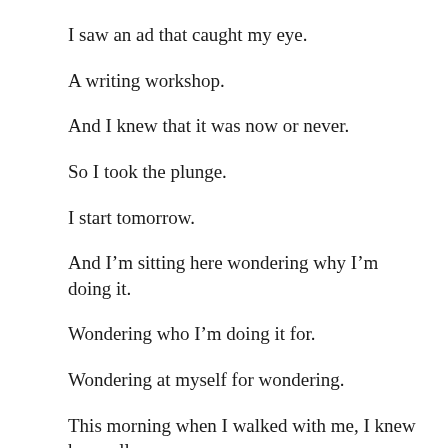I saw an ad that caught my eye.
A writing workshop.
And I knew that it was now or never.
So I took the plunge.
I start tomorrow.
And I’m sitting here wondering why I’m doing it.
Wondering who I’m doing it for.
Wondering at myself for wondering.
This morning when I walked with me, I knew her well.
Cause I’ve always been there.